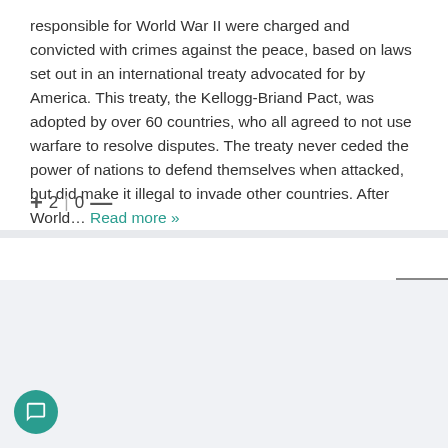responsible for World War II were charged and convicted with crimes against the peace, based on laws set out in an international treaty advocated for by America. This treaty, the Kellogg-Briand Pact, was adopted by over 60 countries, who all agreed to not use warfare to resolve disputes. The treaty never ceded the power of nations to defend themselves when attacked, but did make it illegal to invade other countries. After World… Read more »
+ 2 | 0 —
You May Like
Sponsored Links by Taboola
[Figure (screenshot): Ad image showing Ted's Woodworking product with a card UI showing browser-style interface and a green button labeled 'Over 16,000 Plans']
[Figure (logo): TEDS WOODWORK logo in large bold blue letters with an arrow graphic]